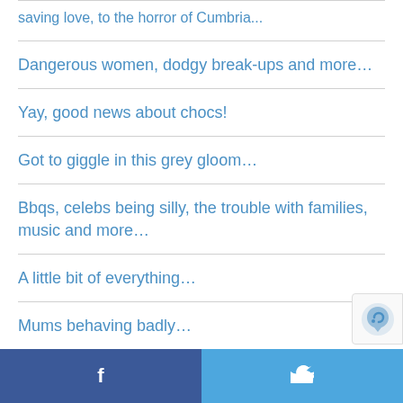saving love, to the horror of Cumbria...
Dangerous women, dodgy break-ups and more…
Yay, good news about chocs!
Got to giggle in this grey gloom…
Bbqs, celebs being silly, the trouble with families, music and more…
A little bit of everything…
Mums behaving badly…
So much to say, so little time!
Facebook | Twitter